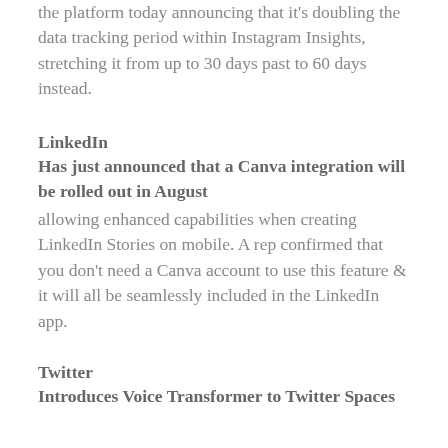the platform today announcing that it's doubling the data tracking period within Instagram Insights, stretching it from up to 30 days past to 60 days instead.
LinkedIn
Has just announced that a Canva integration will be rolled out in August
allowing enhanced capabilities when creating LinkedIn Stories on mobile. A rep confirmed that you don't need a Canva account to use this feature & it will all be seamlessly included in the LinkedIn app.
Twitter
Introduces Voice Transformer to Twitter Spaces